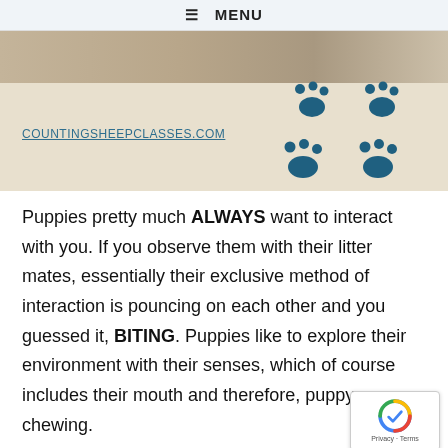≡ MENU
[Figure (illustration): Website banner for countingsheepclasses.com with beige background and blue paw print decorations]
Puppies pretty much ALWAYS want to interact with you. If you observe them with their litter mates, essentially their exclusive method of interaction is pouncing on each other and you guessed it, BITING. Puppies like to explore their environment with their senses, which of course includes their mouth and therefore, puppy chewing.